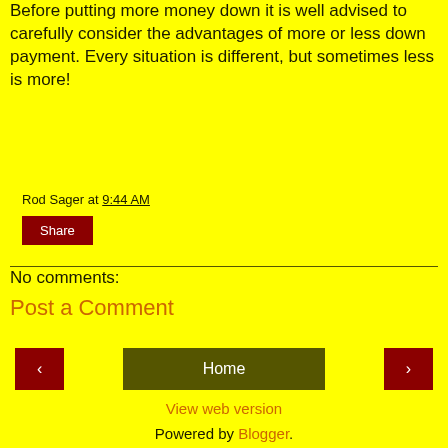recommended when buying a house!
Before putting more money down it is well advised to carefully consider the advantages of more or less down payment. Every situation is different, but sometimes less is more!
Rod Sager at 9:44 AM
Share
No comments:
Post a Comment
‹
Home
›
View web version
Powered by Blogger.